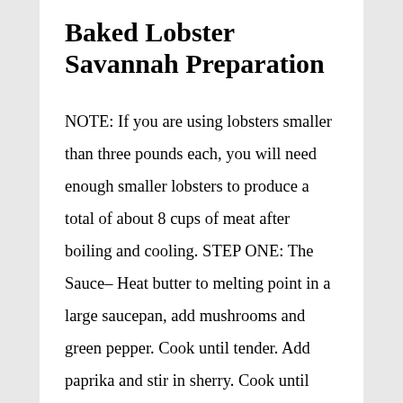Baked Lobster Savannah Preparation
NOTE: If you are using lobsters smaller than three pounds each, you will need enough smaller lobsters to produce a total of about 8 cups of meat after boiling and cooling. STEP ONE: The Sauce– Heat butter to melting point in a large saucepan, add mushrooms and green pepper. Cook until tender. Add paprika and stir in sherry. Cook until liquid is reduced by half. Salt and pepper to taste; add cream sauce (see included recipe in this